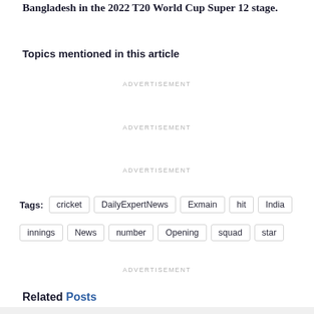Bangladesh in the 2022 T20 World Cup Super 12 stage.
Topics mentioned in this article
ADVERTISEMENT
ADVERTISEMENT
ADVERTISEMENT
Tags: cricket  DailyExpertNews  Exmain  hit  India  innings  News  number  Opening  squad  star
ADVERTISEMENT
Related Posts